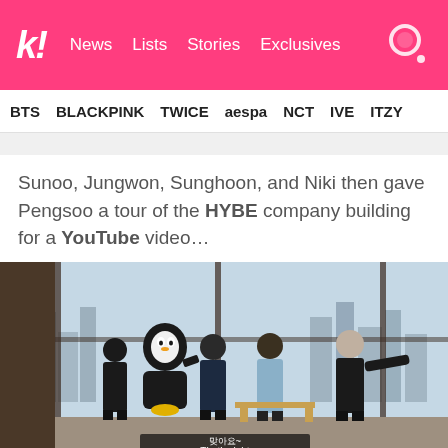k! News  Lists  Stories  Exclusives
BTS  BLACKPINK  TWICE  aespa  NCT  IVE  ITZY
Sunoo, Jungwon, Sunghoon, and Niki then gave Pengsoo a tour of the HYBE company building for a YouTube video…
[Figure (photo): Four people and a penguin mascot (Pengsoo) standing in a brightly lit room with floor-to-ceiling windows overlooking a city. One person on the right is pointing. Korean subtitle reads '맞아요~' and English subtitle reads 'That's right'.]